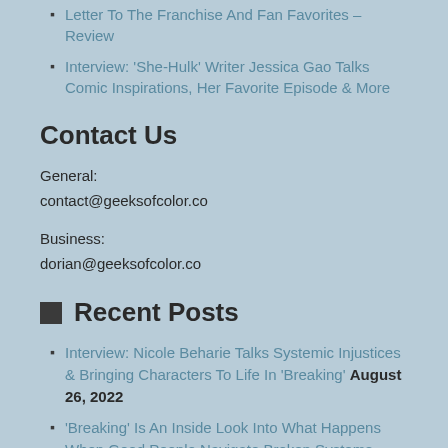Letter To The Franchise And Fan Favorites – Review
Interview: 'She-Hulk' Writer Jessica Gao Talks Comic Inspirations, Her Favorite Episode & More
Contact Us
General:
contact@geeksofcolor.co
Business:
dorian@geeksofcolor.co
Recent Posts
Interview: Nicole Beharie Talks Systemic Injustices & Bringing Characters To Life In 'Breaking' August 26, 2022
'Breaking' Is An Inside Look Into What Happens When Good People Navigate Broken Systems – Review